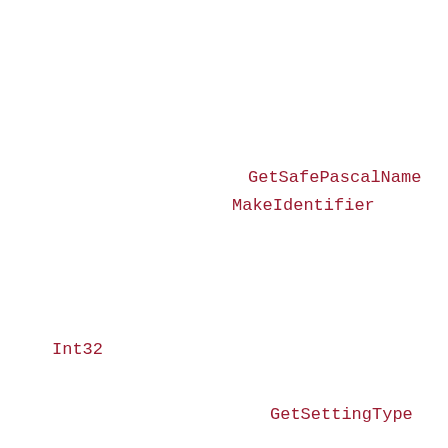GetSafePascalName
MakeIdentifier
Int32
GetSettingType